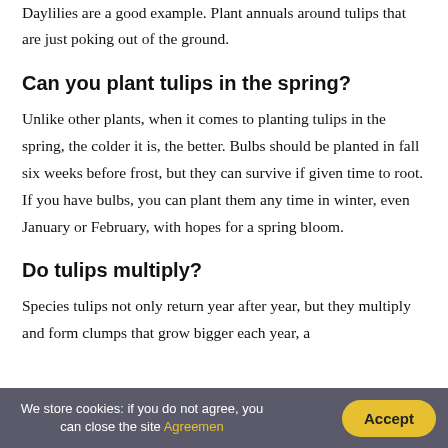Daylilies are a good example. Plant annuals around tulips that are just poking out of the ground.
Can you plant tulips in the spring?
Unlike other plants, when it comes to planting tulips in the spring, the colder it is, the better. Bulbs should be planted in fall six weeks before frost, but they can survive if given time to root. If you have bulbs, you can plant them any time in winter, even January or February, with hopes for a spring bloom.
Do tulips multiply?
Species tulips not only return year after year, but they multiply and form clumps that grow bigger each year, a
We store cookies: if you do not agree, you can close the site Agreemen  Accept